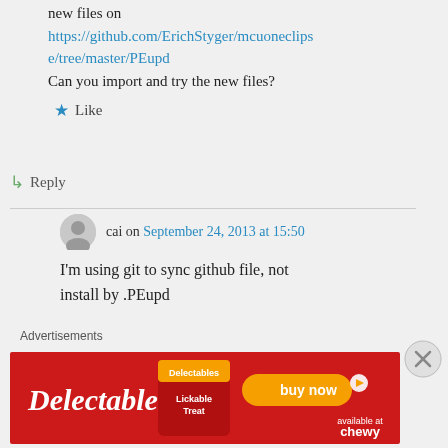if .Eupd file import. I have just published new files on https://github.com/ErichStyger/mcuoneclipse/tree/master/PEupd Can you import and try the new files?
Like
Reply
cai on September 24, 2013 at 15:50
I'm using git to sync github file, not install by .PEupd
Advertisements